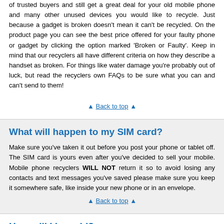of trusted buyers and still get a great deal for your old mobile phone and many other unused devices you would like to recycle. Just because a gadget is broken doesn't mean it can't be recycled. On the product page you can see the best price offered for your faulty phone or gadget by clicking the option marked 'Broken or Faulty'. Keep in mind that our recyclers all have different criteria on how they describe a handset as broken. For things like water damage you're probably out of luck, but read the recyclers own FAQs to be sure what you can and can't send to them!
▲ Back to top ▲
What will happen to my SIM card?
Make sure you've taken it out before you post your phone or tablet off. The SIM card is yours even after you've decided to sell your mobile. Mobile phone recyclers WILL NOT return it so to avoid losing any contacts and text messages you've saved please make sure you keep it somewhere safe, like inside your new phone or in an envelope.
▲ Back to top ▲
How will I be paid?